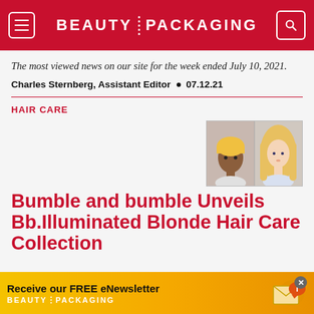BEAUTY PACKAGING
The most viewed news on our site for the week ended July 10, 2021.
Charles Sternberg, Assistant Editor  •  07.12.21
HAIR CARE
[Figure (photo): Two women with blonde hair — one with short blonde hair (dark-skinned woman) and one with long blonde hair (fair-skinned woman)]
Bumble and bumble Unveils Bb.Illuminated Blonde Hair Care Collection
Receive our FREE eNewsletter BEAUTY PACKAGING